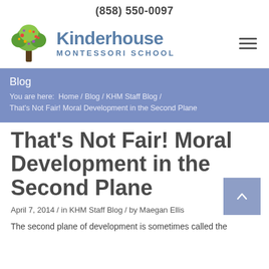(858) 550-0097
[Figure (logo): Kinderhouse Montessori School logo with a decorative tree illustration and the school name in blue text]
Blog
You are here: Home / Blog / KHM Staff Blog / That's Not Fair! Moral Development in the Second Plane
That's Not Fair! Moral Development in the Second Plane
April 7, 2014 / in KHM Staff Blog / by Maegan Ellis
The second plane of development is sometimes called the